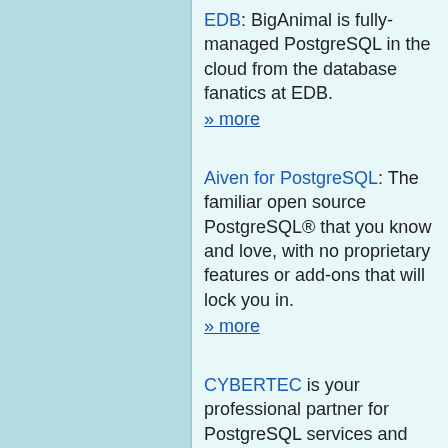EDB: BigAnimal is fully-managed PostgreSQL in the cloud from the database fanatics at EDB.
» more
Aiven for PostgreSQL: The familiar open source PostgreSQL® that you know and love, with no proprietary features or add-ons that will lock you in.
» more
CYBERTEC is your professional partner for PostgreSQL services and Data Science since 2000. With offices in Austria, Uruguay, Estonia, Poland, South Africa and Switzerland, CYBERTEC operates